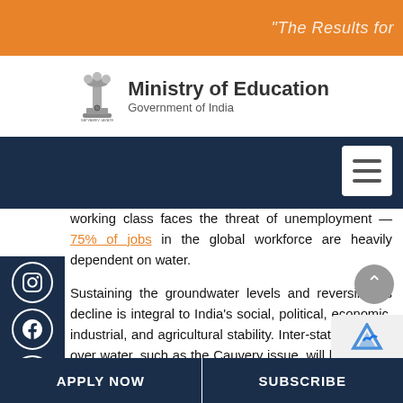"The Results for
[Figure (logo): Ministry of Education, Government of India emblem/logo with Ashoka Pillar icon]
working class faces the threat of unemployment — 75% of jobs in the global workforce are heavily dependent on water.
Sustaining the groundwater levels and reversing its decline is integral to India's social, political, economic, industrial, and agricultural stability. Inter-state disputes over water, such as the Cauvery issue, will have to be put to rest to launch a coordinated effort to tackle the pan-Indian water shortage crisis. —Adoption of scientific methodology to establish a sustainable approach for groundwater extraction particularly for irrigation purposes is the way to prevent exploitation || says P...